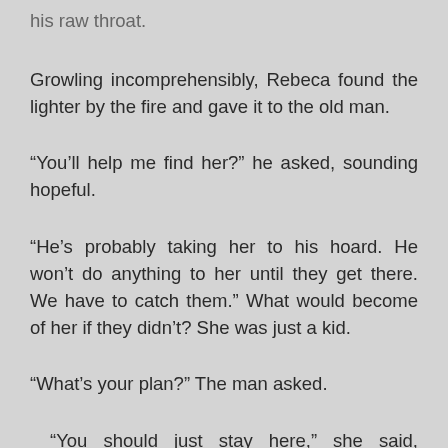his raw throat.
Growling incomprehensibly, Rebeca found the lighter by the fire and gave it to the old man.
“You’ll help me find her?” he asked, sounding hopeful.
“He’s probably taking her to his hoard. He won’t do anything to her until they get there. We have to catch them.” What would become of her if they didn’t? She was just a kid.
“What’s your plan?” The man asked.
“You should just stay here,” she said, thinking furiously. The last thing Rebeca needed was to babysit this blind man the whole way. “You won’t be